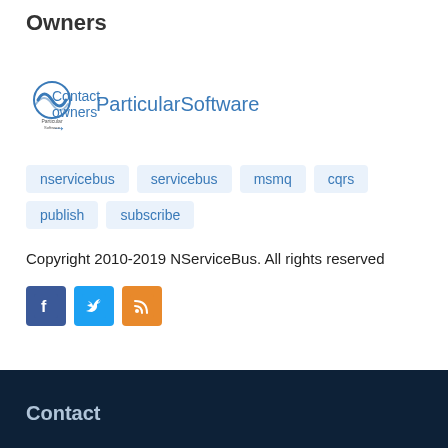Owners
Contact owners →
[Figure (logo): Particular Software logo — circular wave icon with 'Particular Software' text below]
ParticularSoftware
nservicebus
servicebus
msmq
cqrs
publish
subscribe
Copyright 2010-2019 NServiceBus. All rights reserved
[Figure (other): Social media icons: Facebook (blue), Twitter (blue), RSS (orange)]
Contact